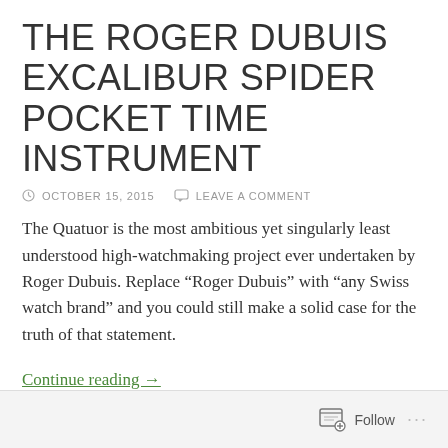THE ROGER DUBUIS EXCALIBUR SPIDER POCKET TIME INSTRUMENT
OCTOBER 15, 2015   LEAVE A COMMENT
The Quatuor is the most ambitious yet singularly least understood high-watchmaking project ever undertaken by Roger Dubuis. Replace “Roger Dubuis” with “any Swiss watch brand” and you could still make a solid case for the truth of that statement.
Continue reading →
Follow